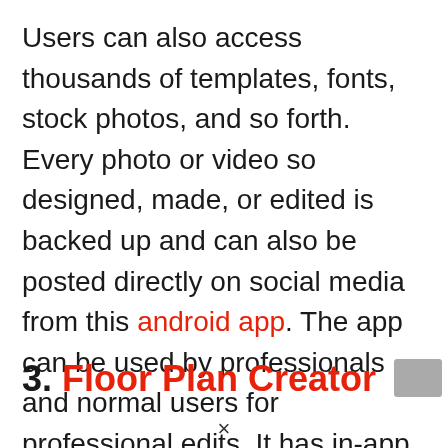Users can also access thousands of templates, fonts, stock photos, and so forth. Every photo or video so designed, made, or edited is backed up and can also be posted directly on social media from this android app. The app can be used by professionals and normal users for professional edits. It has in-app purchases to unlock all the editing options.
3. Floor Plan Creator